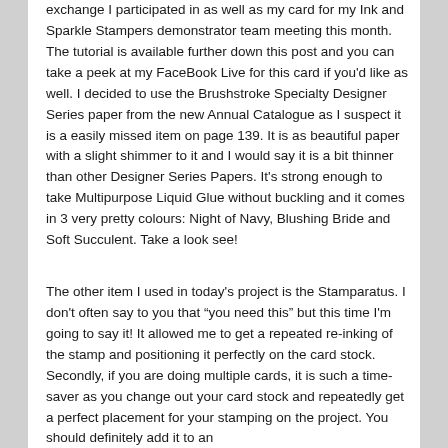exchange I participated in as well as my card for my Ink and Sparkle Stampers demonstrator team meeting this month. The tutorial is available further down this post and you can take a peek at my FaceBook Live for this card if you'd like as well. I decided to use the Brushstroke Specialty Designer Series paper from the new Annual Catalogue as I suspect it is a easily missed item on page 139. It is as beautiful paper with a slight shimmer to it and I would say it is a bit thinner than other Designer Series Papers. It's strong enough to take Multipurpose Liquid Glue without buckling and it comes in 3 very pretty colours: Night of Navy, Blushing Bride and Soft Succulent. Take a look see!
The other item I used in today's project is the Stamparatus. I don't often say to you that “you need this” but this time I'm going to say it! It allowed me to get a repeated re-inking of the stamp and positioning it perfectly on the card stock. Secondly, if you are doing multiple cards, it is such a time-saver as you change out your card stock and repeatedly get a perfect placement for your stamping on the project. You should definitely add it to an